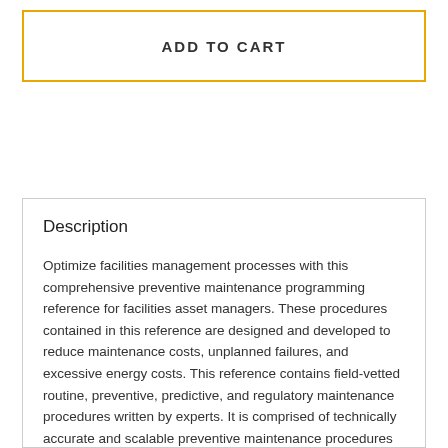ADD TO CART
Description
Optimize facilities management processes with this comprehensive preventive maintenance programming reference for facilities asset managers. These procedures contained in this reference are designed and developed to reduce maintenance costs, unplanned failures, and excessive energy costs. This reference contains field-vetted routine, preventive, predictive, and regulatory maintenance procedures written by experts. It is comprised of technically accurate and scalable preventive maintenance procedures ready for